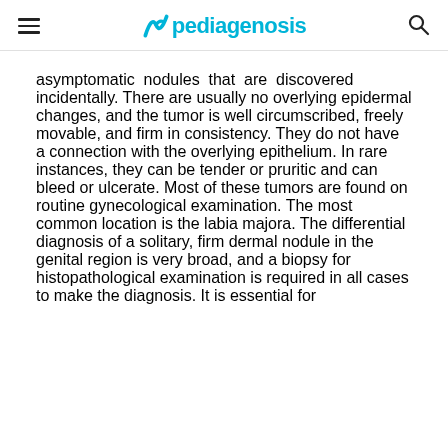≡  pediagenosis  🔍
asymptomatic nodules that are discovered incidentally. There are usually no overlying epidermal changes, and the tumor is well circumscribed, freely movable, and firm in consistency. They do not have a connection with the overlying epithelium. In rare instances, they can be tender or pruritic and can bleed or ulcerate. Most of these tumors are found on routine gynecological examination. The most common location is the labia majora. The differential diagnosis of a solitary, firm dermal nodule in the genital region is very broad, and a biopsy for histopathological examination is required in all cases to make the diagnosis. It is essential for